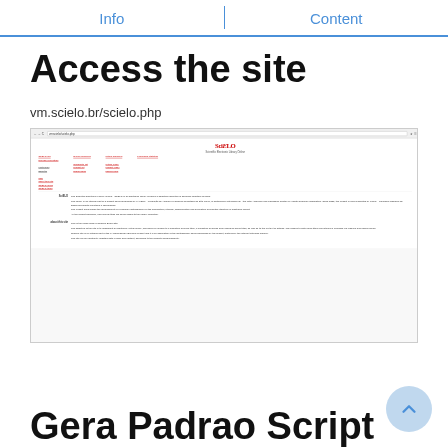Info | Content
Access the site
vm.scielo.br/scielo.php
[Figure (screenshot): Screenshot of the SciELO (Scientific Electronic Library Online) website at vm.scielo.br/scielo.php, showing the SciELO logo, navigation links, and descriptive text about the library and the about this site section.]
Gera Padrao Script